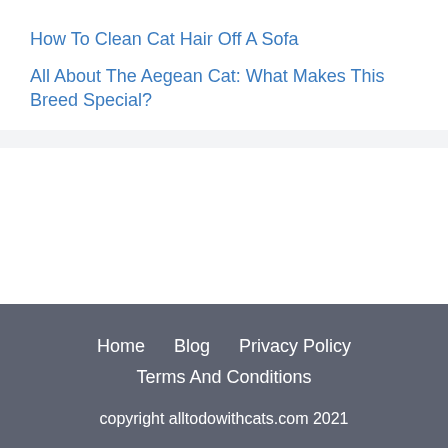How To Clean Cat Hair Off A Sofa
All About The Aegean Cat: What Makes This Breed Special?
Home   Blog   Privacy Policy   Terms And Conditions   copyright alltodowithcats.com 2021